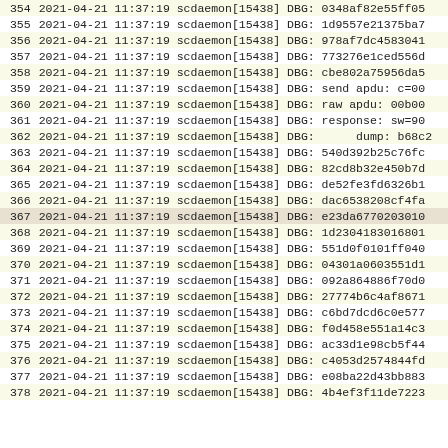| Line | Log Entry |
| --- | --- |
| 354 | 2021-04-21 11:37:19 scdaemon[15438] DBG: 0348af82e55ff05 |
| 355 | 2021-04-21 11:37:19 scdaemon[15438] DBG: 1d9557e21375ba7 |
| 356 | 2021-04-21 11:37:19 scdaemon[15438] DBG: 978af7dc4583041 |
| 357 | 2021-04-21 11:37:19 scdaemon[15438] DBG: 773276e1ced556d |
| 358 | 2021-04-21 11:37:19 scdaemon[15438] DBG: cbe802a75956da5 |
| 359 | 2021-04-21 11:37:19 scdaemon[15438] DBG: send apdu: c=00 |
| 360 | 2021-04-21 11:37:19 scdaemon[15438] DBG: raw apdu: 00b00 |
| 361 | 2021-04-21 11:37:19 scdaemon[15438] DBG: response: sw=90 |
| 362 | 2021-04-21 11:37:19 scdaemon[15438] DBG:      dump: b68c2 |
| 363 | 2021-04-21 11:37:19 scdaemon[15438] DBG: 540d392b25c76fc |
| 364 | 2021-04-21 11:37:19 scdaemon[15438] DBG: 82cd8b32e450b7d |
| 365 | 2021-04-21 11:37:19 scdaemon[15438] DBG: de52fe3fd6326b1 |
| 366 | 2021-04-21 11:37:19 scdaemon[15438] DBG: dac6538208cf4fa |
| 367 | 2021-04-21 11:37:19 scdaemon[15438] DBG: e23da6770203010 |
| 368 | 2021-04-21 11:37:19 scdaemon[15438] DBG: 1d2304183016801 |
| 369 | 2021-04-21 11:37:19 scdaemon[15438] DBG: 551d0f0101ff040 |
| 370 | 2021-04-21 11:37:19 scdaemon[15438] DBG: 04301a0603551d1 |
| 371 | 2021-04-21 11:37:19 scdaemon[15438] DBG: 092a864886f70d0 |
| 372 | 2021-04-21 11:37:19 scdaemon[15438] DBG: 27774b6c4af8671 |
| 373 | 2021-04-21 11:37:19 scdaemon[15438] DBG: c6bd7dcd6c0e577 |
| 374 | 2021-04-21 11:37:19 scdaemon[15438] DBG: f0d458e551a14c3 |
| 375 | 2021-04-21 11:37:19 scdaemon[15438] DBG: ac33d1e98cb5f44 |
| 376 | 2021-04-21 11:37:19 scdaemon[15438] DBG: c4053d2574844fd |
| 377 | 2021-04-21 11:37:19 scdaemon[15438] DBG: e08ba22d43bb883 |
| 378 | 2021-04-21 11:37:19 scdaemon[15438] DBG: 4b4ef3f11de7223 |